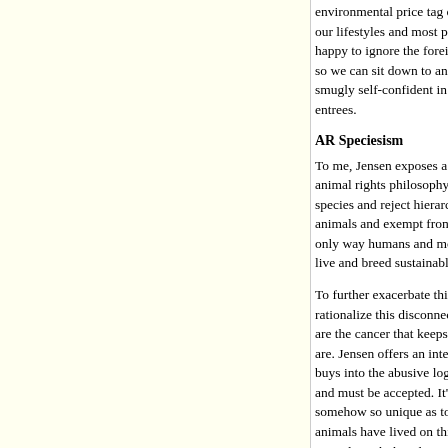environmental price tag of our choices. It's hypocritical our lifestyles and most particularly dietary choices carry happy to ignore the foreign policy atrocities, land-base d so we can sit down to an extravagant dinner at the newes smugly self-confident in our moral superiority simply be entrees.
AR Speciesism
To me, Jensen exposes a crime of speciesism committed animal rights philosophy with Endgame. We claim to rec species and reject hierarchies of importance, yet someho animals and exempt from the rules of nature. Jensen goes only way humans and most life on this planet can survive live and breed sustainably.
To further exacerbate this form of speciesism many anim rationalize this disconnect with a rather misanthropic wo are the cancer that keeps multiplying and consuming and are. Jensen offers an interesting response and tackles this buys into the abusive logic created by civilization that th and must be accepted. It's that same speciesist logic that somehow so unique as to be beyond the ability to live na animals have lived on this planet for tens of thousands o recently with the advent of industrial civilization we hav world around us. Why do we think we cannot return to a did?
This question makes many animal rights activists recoil a outright because it would envision a world wherein a hu